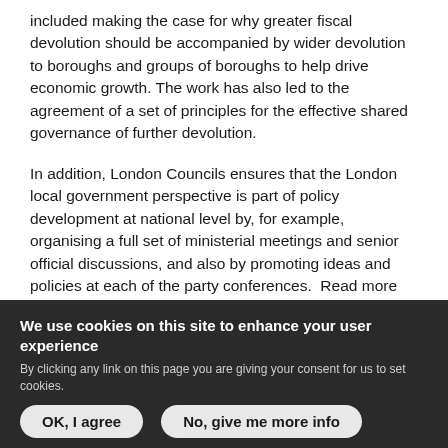included making the case for why greater fiscal devolution should be accompanied by wider devolution to boroughs and groups of boroughs to help drive economic growth. The work has also led to the agreement of a set of principles for the effective shared governance of further devolution.
In addition, London Councils ensures that the London local government perspective is part of policy development at national level by, for example, organising a full set of ministerial meetings and senior official discussions, and also by promoting ideas and policies at each of the party conferences. Read more about the All-Party Parliamentary Group (APPG) for London
[Figure (other): Print icon button (circle with printer icon) and email icon button (circle with envelope icon)]
We use cookies on this site to enhance your user experience
By clicking any link on this page you are giving your consent for us to set cookies.
OK, I agree   No, give me more info